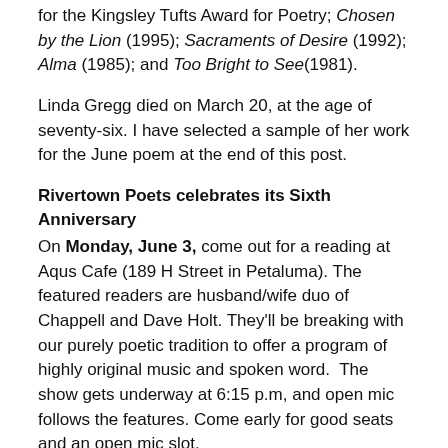for the Kingsley Tufts Award for Poetry; Chosen by the Lion (1995); Sacraments of Desire (1992); Alma (1985); and Too Bright to See(1981).
Linda Gregg died on March 20, at the age of seventy-six. I have selected a sample of her work for the June poem at the end of this post.
Rivertown Poets celebrates its Sixth Anniversary
On Monday, June 3, come out for a reading at Aqus Cafe (189 H Street in Petaluma). The featured readers are husband/wife duo of Chappell and Dave Holt. They'll be breaking with our purely poetic tradition to offer a program of highly original music and spoken word.  The show gets underway at 6:15 p.m, and open mic follows the features. Come early for good seats and an open mic slot.
Book & Brews and Open Mic the Santa Rosa Central